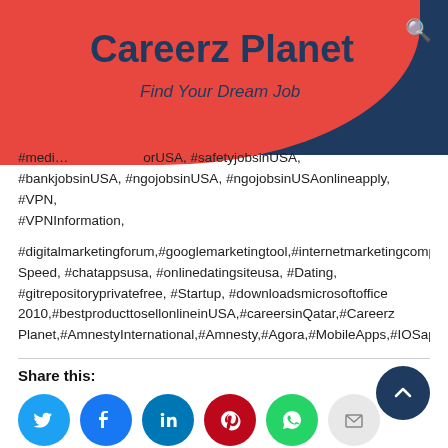Careerz Planet — Find Your Dream Job
#medi… …orUSA, #safetyjobsinUSA, #bankjobsinUSA, #ngojobsinUSA, #ngojobsinUSAonlineapply, #VPN, #VPNInformation,
#digitalmarketingforum,#googlemarketingtool,#internetmarketingcompany,#c… Speed, #chatappsusa, #onlinedatingsiteusa, #Dating, #gitrepositoryprivatefree, #Startup, #downloadsmicrosoftoffice 2010,#bestproducttosellonlineinUSA,#careersinQatar,#Careerz Planet,#AmnestyInternational,#Amnesty,#Agora,#MobileApps,#IOSapps,#And…
Share this:
[Figure (infographic): Social media share buttons: Twitter (blue), Facebook (blue), LinkedIn (blue), Pinterest (red), WhatsApp (green), Email (gray)]
Like this:
Loading...